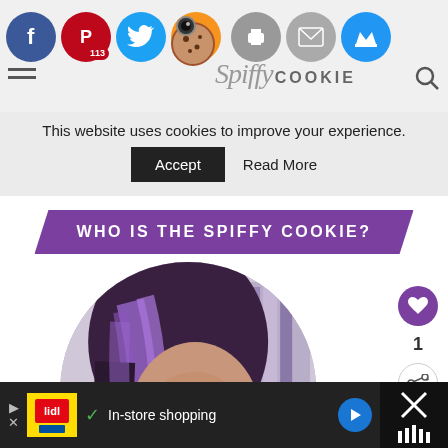[Figure (screenshot): Top navigation bar with social sharing icons: Facebook (blue), Pinterest (red, 113 badge), Twitter (blue), Yummly (orange), Print (gray), Mail (gray), Crown (blue). Cookie icon and Spiffy Cookie logo visible.]
This website uses cookies to improve your experience.
Accept   Read More
WHO IS THE SPIFFY COOKIE?
[Figure (photo): Circular portrait photo of a woman with purple-highlighted dark hair, holding a chocolate chip cookie up to her mouth, looking sideways at the camera.]
1
WHAT'S NEXT → Peaches and Cream Pie...
In-store shopping